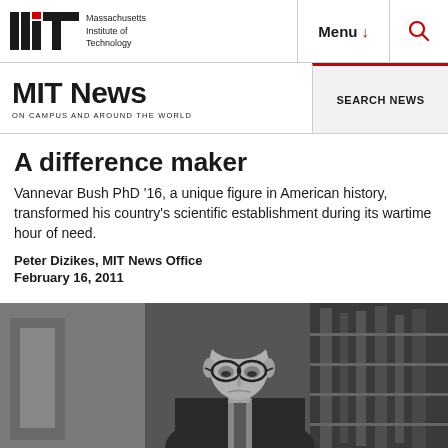Massachusetts Institute of Technology | Menu | Search
MIT News ON CAMPUS AND AROUND THE WORLD
SEARCH NEWS
A difference maker
Vannevar Bush PhD '16, a unique figure in American history, transformed his country's scientific establishment during its wartime hour of need.
Peter Dizikes, MIT News Office
February 16, 2011
[Figure (photo): Black and white photograph of Vannevar Bush, wearing glasses and a suit, looking downward, with scientific equipment visible in the background.]